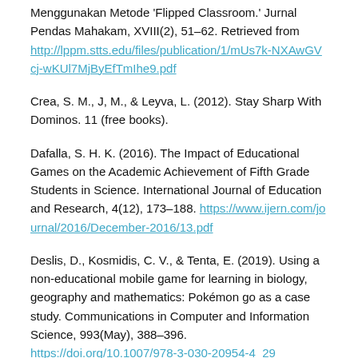Menggunakan Metode 'Flipped Classroom.' Jurnal Pendas Mahakam, XVIII(2), 51–62. Retrieved from http://lppm.stts.edu/files/publication/1/mUs7k-NXAwGVcj-wKUl7MjByEfTmIhe9.pdf
Crea, S. M., J, M., & Leyva, L. (2012). Stay Sharp With Dominos. 11 (free books).
Dafalla, S. H. K. (2016). The Impact of Educational Games on the Academic Achievement of Fifth Grade Students in Science. International Journal of Education and Research, 4(12), 173–188. https://www.ijern.com/journal/2016/December-2016/13.pdf
Deslis, D., Kosmidis, C. V., & Tenta, E. (2019). Using a non-educational mobile game for learning in biology, geography and mathematics: Pokémon go as a case study. Communications in Computer and Information Science, 993(May), 388–396. https://doi.org/10.1007/978-3-030-20954-4_29